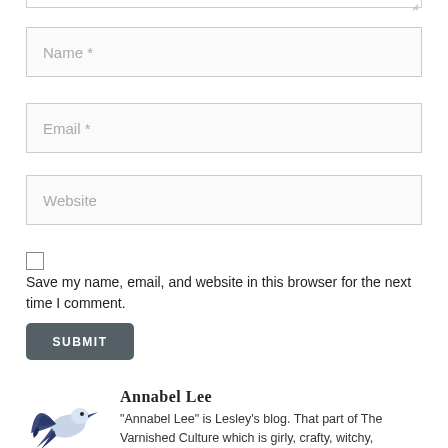Name *
Email *
Website
Save my name, email, and website in this browser for the next time I comment.
SUBMIT
Annabel Lee
"Annabel Lee" is Lesley's blog. That part of The Varnished Culture which is girly, crafty, witchy,